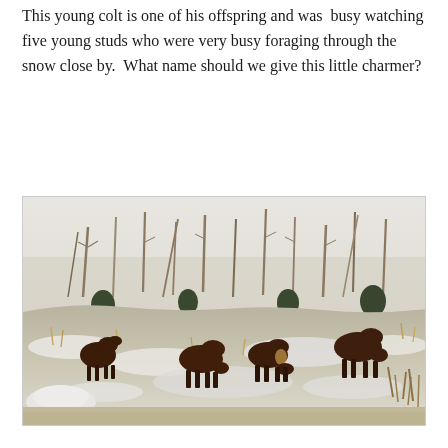This young colt is one of his offspring and was busy watching five young studs who were very busy foraging through the snow close by.  What name should we give this little charmer?
[Figure (photo): Five young brown horses foraging through snow in a snowy field with bare trees and sparse forest in the background.]